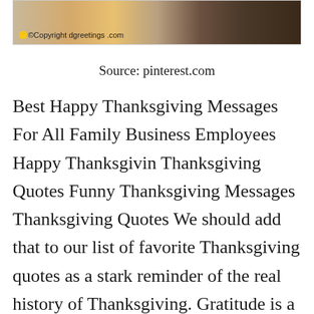[Figure (photo): Thanksgiving-themed image with autumn leaves and dark background, showing copyright notice '©Copyright dgreetings .com' with a smiley emoji]
Source: pinterest.com
Best Happy Thanksgiving Messages For All Family Business Employees Happy Thanksgivin Thanksgiving Quotes Funny Thanksgiving Messages Thanksgiving Quotes We should add that to our list of favorite Thanksgiving quotes as a stark reminder of the real history of Thanksgiving. Gratitude is a quality similar to electricity. Yes Thanksgiving quotes